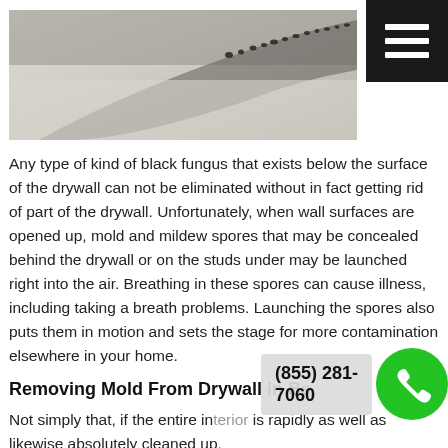[Figure (photo): Close-up photo of black mold/fungus growing along a surface seam, showing dark speckled growth pattern against a light background.]
Any type of kind of black fungus that exists below the surface of the drywall can not be eliminated without in fact getting rid of part of the drywall. Unfortunately, when wall surfaces are opened up, mold and mildew spores that may be concealed behind the drywall or on the studs under may be launched right into the air. Breathing in these spores can cause illness, including taking a breath problems. Launching the spores also puts them in motion and sets the stage for more contamination elsewhere in your home.
Removing Mold From Drywall in Bedroom
Not simply that, if the entire interior is rapidly as well as likewise absolutely cleaned up,